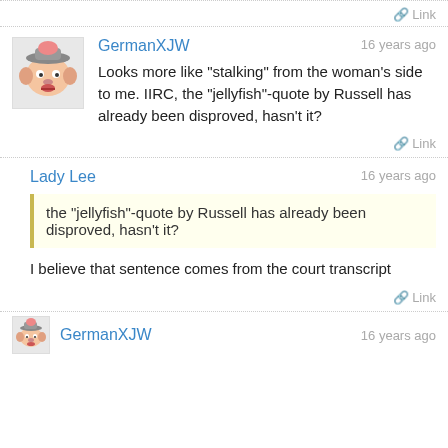Link
GermanXJW
16 years ago
Looks more like "stalking" from the woman's side to me. IIRC, the "jellyfish"-quote by Russell has already been disproved, hasn't it?
Link
Lady Lee
16 years ago
the "jellyfish"-quote by Russell has already been disproved, hasn't it?
I believe that sentence comes from the court transcript
Link
GermanXJW
16 years ago